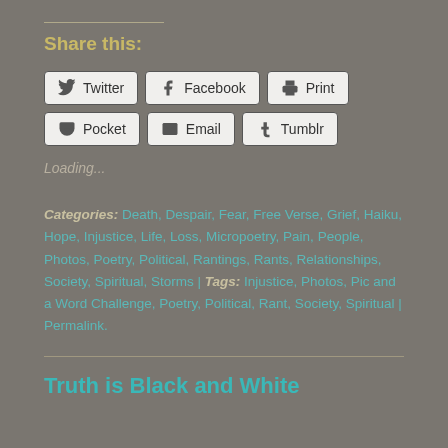Share this:
Twitter | Facebook | Print | Pocket | Email | Tumblr
Loading...
Categories: Death, Despair, Fear, Free Verse, Grief, Haiku, Hope, Injustice, Life, Loss, Micropoetry, Pain, People, Photos, Poetry, Political, Rantings, Rants, Relationships, Society, Spiritual, Storms | Tags: Injustice, Photos, Pic and a Word Challenge, Poetry, Political, Rant, Society, Spiritual | Permalink.
Truth is Black and White